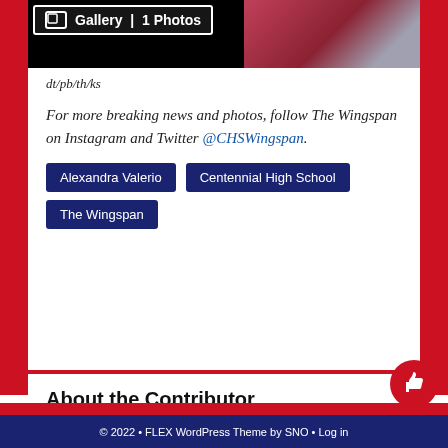[Figure (photo): Gallery image bar at top showing a pink/red knitted or woven textile with a gallery overlay showing icon and '1 Photos' label]
dt/pb/th/ks
For more breaking news and photos, follow The Wingspan on Instagram and Twitter @CHSWingspan.
Alexandra Valerio
Centennial High School
The Wingspan
About the Contributor
Alexandra Valerio, Online Editor
© 2022 • FLEX WordPress Theme by SNO • Log in